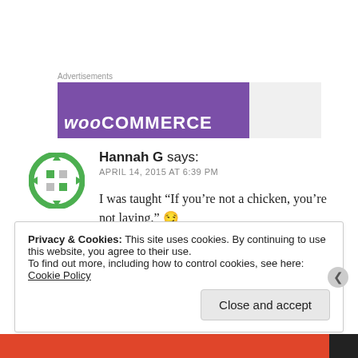Advertisements
[Figure (screenshot): WooCommerce advertisement banner with purple background showing 'WOO COMMERCE' text in white]
Hannah G says:
APRIL 14, 2015 AT 6:39 PM
I was taught “If you’re not a chicken, you’re not laying.” 😏
Liked by 1 person
Privacy & Cookies: This site uses cookies. By continuing to use this website, you agree to their use.
To find out more, including how to control cookies, see here: Cookie Policy
Close and accept